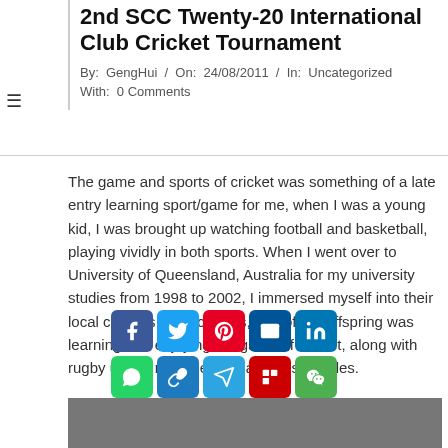2nd SCC Twenty-20 International Club Cricket Tournament
By: GengHui / On: 24/08/2011 / In: Uncategorized With: 0 Comments
The game and sports of cricket was something of a late entry learning sport/game for me, when I was a young kid, I was brought up watching football and basketball, playing vividly in both sports. When I went over to University of Queensland, Australia for my university studies from 1998 to 2002, I immersed myself into their local cultures and activities, one of the offspring was learning and enjoying the game of cricket, along with rugby union, rugby league and aussie rules.
[Figure (infographic): Social media sharing buttons overlay: Facebook, Twitter, Pinterest, Email, LinkedIn (row 1); WhatsApp, Copy Link, Telegram, Flipboard, WeChat (row 2); Gmail, More (row 3)]
[Figure (photo): Partial photo of a cricket ground or sports facility at the bottom of the page]